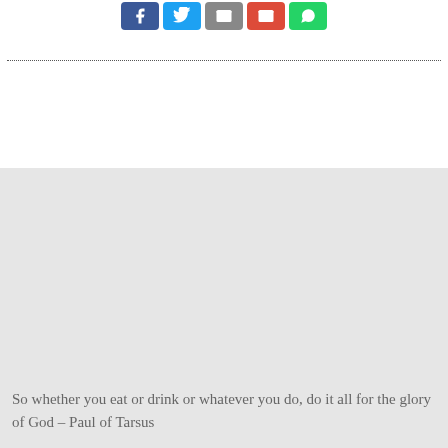[Figure (other): Row of five social media share buttons: Facebook (blue), Twitter (light blue), Email (grey), Google+/Email (red), WhatsApp (green)]
So whether you eat or drink or whatever you do, do it all for the glory of God – Paul of Tarsus